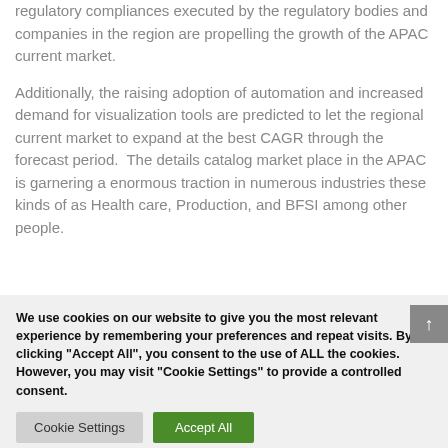regulatory compliances executed by the regulatory bodies and companies in the region are propelling the growth of the APAC current market.
Additionally, the raising adoption of automation and increased demand for visualization tools are predicted to let the regional current market to expand at the best CAGR through the forecast period.  The details catalog market place in the APAC is garnering a enormous traction in numerous industries these kinds of as Health care, Production, and BFSI among other people.
We use cookies on our website to give you the most relevant experience by remembering your preferences and repeat visits. By clicking "Accept All", you consent to the use of ALL the cookies. However, you may visit "Cookie Settings" to provide a controlled consent.